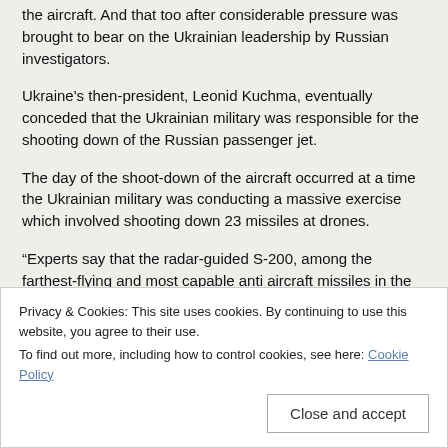the aircraft. And that too after considerable pressure was brought to bear on the Ukrainian leadership by Russian investigators.
Ukraine's then-president, Leonid Kuchma, eventually conceded that the Ukrainian military was responsible for the shooting down of the Russian passenger jet.
The day of the shoot-down of the aircraft occurred at a time the Ukrainian military was conducting a massive exercise which involved shooting down 23 missiles at drones.
“Experts say that the radar-guided S-200, among the farthest-flying and most capable anti aircraft missiles in the arsenal of former Soviet nations (at the time), simply locked onto the Russian airliner after it raced past the destroyed drone some 20 miles off
Privacy & Cookies: This site uses cookies. By continuing to use this website, you agree to their use.
To find out more, including how to control cookies, see here: Cookie Policy